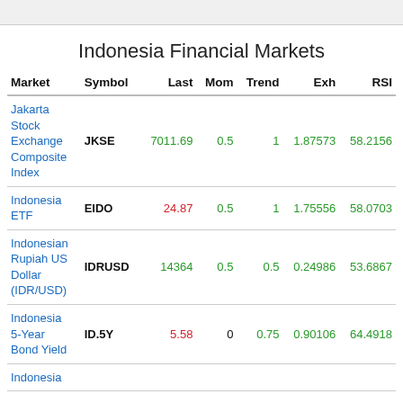Indonesia Financial Markets
| Market | Symbol | Last | Mom | Trend | Exh | RSI |
| --- | --- | --- | --- | --- | --- | --- |
| Jakarta Stock Exchange Composite Index | JKSE | 7011.69 | 0.5 | 1 | 1.87573 | 58.2156 |
| Indonesia ETF | EIDO | 24.87 | 0.5 | 1 | 1.75556 | 58.0703 |
| Indonesian Rupiah US Dollar (IDR/USD) | IDRUSD | 14364 | 0.5 | 0.5 | 0.24986 | 53.6867 |
| Indonesia 5-Year Bond Yield | ID.5Y | 5.58 | 0 | 0.75 | 0.90106 | 64.4918 |
| Indonesia |  |  |  |  |  |  |